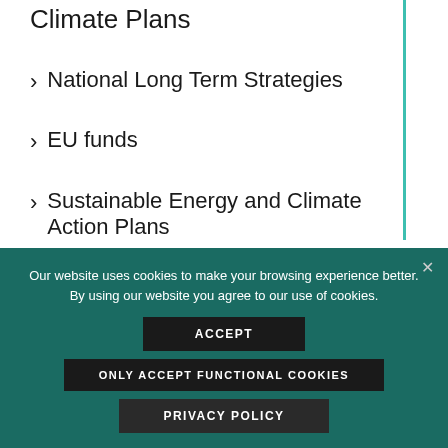Climate Plans
National Long Term Strategies
EU funds
Sustainable Energy and Climate Action Plans
Our website uses cookies to make your browsing experience better. By using our website you agree to our use of cookies.
ACCEPT
ONLY ACCEPT FUNCTIONAL COOKIES
PRIVACY POLICY